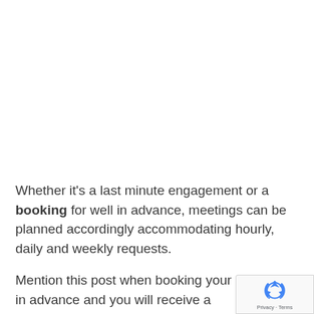Whether it's a last minute engagement or a booking for well in advance, meetings can be planned accordingly accommodating hourly, daily and weekly requests.
Mention this post when booking your meeting in advance and you will receive a